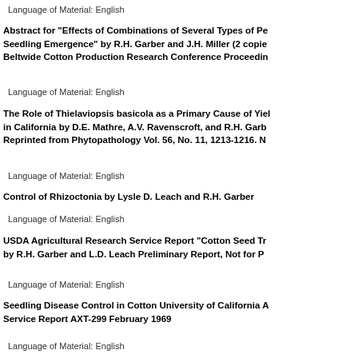Language of Material: English
Abstract for "Effects of Combinations of Several Types of Pe... Seedling Emergence" by R.H. Garber and J.H. Miller (2 copie... Beltwide Cotton Production Research Conference Proceedin...
Language of Material: English
The Role of Thielaviopsis basicola as a Primary Cause of Yiel... in California by D.E. Mathre, A.V. Ravenscroft, and R.H. Garb... Reprinted from Phytopathology Vol. 56, No. 11, 1213-1216. N...
Language of Material: English
Control of Rhizoctonia by Lysle D. Leach and R.H. Garber
Language of Material: English
USDA Agricultural Research Service Report "Cotton Seed Tr... by R.H. Garber and L.D. Leach Preliminary Report, Not for P...
Language of Material: English
Seedling Disease Control in Cotton University of California A... Service Report AXT-299 February 1969
Language of Material: English